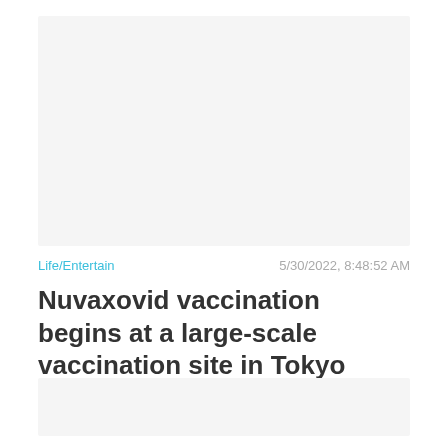[Figure (photo): Top image placeholder area with light gray background]
Life/Entertain    5/30/2022, 8:48:52 AM
Nuvaxovid vaccination begins at a large-scale vaccination site in Tokyo
[Figure (photo): Bottom image placeholder area with light gray background]